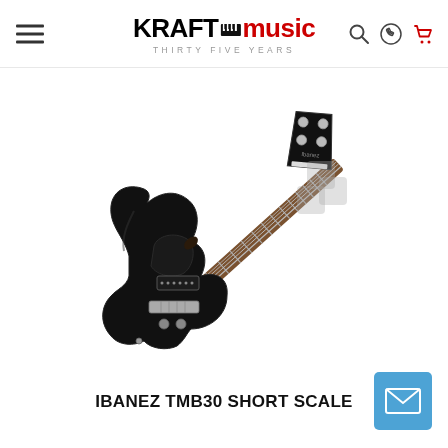KRAFT music THIRTY FIVE YEARS
[Figure (photo): Black Ibanez TMB30 short scale electric bass guitar shown diagonally, body lower-left and headstock upper-right, against white background. Solid black body, rosewood fretboard, chrome hardware, black pickguard.]
IBANEZ TMB30 SHORT SCALE